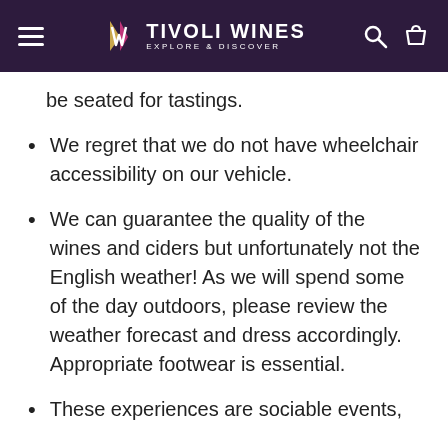TIVOLI WINES EXPLORE & DISCOVER
be seated for tastings.
We regret that we do not have wheelchair accessibility on our vehicle.
We can guarantee the quality of the wines and ciders but unfortunately not the English weather! As we will spend some of the day outdoors, please review the weather forecast and dress accordingly. Appropriate footwear is essential.
These experiences are sociable events,